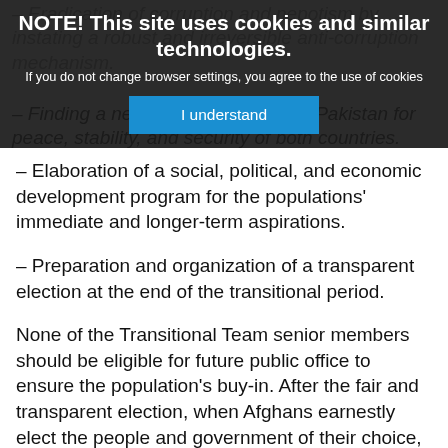– Eradication of corruption and nepotism by instating a robust and irreversible anti-corruption mechanism.
[Figure (screenshot): Cookie consent banner overlay with dark background. Title: 'NOTE! This site uses cookies and similar technologies.' Body text: 'If you do not change browser settings, you agree to the use of cookies.' Blue 'I understand' button.]
– Finding a negotiated solution with Pakistan for peace, stability, and security of both countries.
– Elaboration of a social, political, and economic development program for the populations' immediate and longer-term aspirations.
– Preparation and organization of a transparent election at the end of the transitional period.
None of the Transitional Team senior members should be eligible for future public office to ensure the population's buy-in. After the fair and transparent election, when Afghans earnestly elect the people and government of their choice, they can form the first National Council of Ethics and Good Governance and serve as role models and moral authority to monitor government and private sector actions.